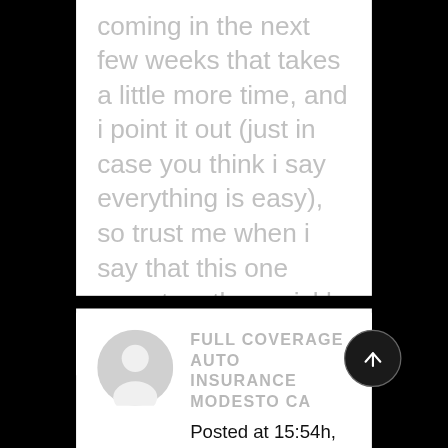coming in the next few weeks that takes a little more time, and i point it out (just in case you think i say everything is easy), so trust me when i say that this one goes together quickly and easily!
[Figure (illustration): Gray circular user avatar icon]
FULL COVERAGE AUTO INSURANCE MODESTO CA
Posted at 15:54h, 24 February REPLY